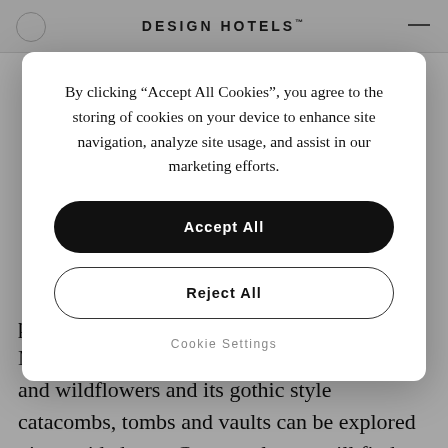DESIGN HOTELS
By clicking “Accept All Cookies”, you agree to the storing of cookies on your device to enhance site navigation, analyze site usage, and assist in our marketing efforts.
Accept All
Reject All
Cookie Settings
perhaps most famously, philosopher Karl Marx, the cemetery is engulfed by shrubbery and wildflowers and its gothic style catacombs, tombs and vaults can be explored via a guided tour. Concrete lovers will find further solace eastwards at the famed Barbican